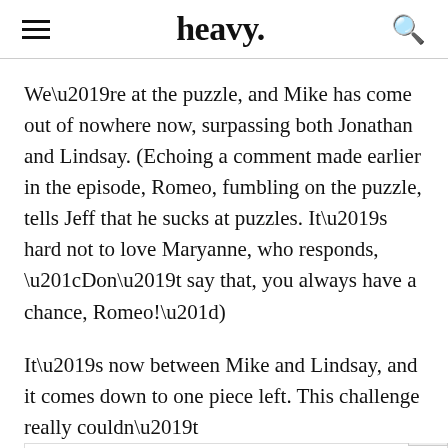heavy.
We’re at the puzzle, and Mike has come out of nowhere now, surpassing both Jonathan and Lindsay. (Echoing a comment made earlier in the episode, Romeo, fumbling on the puzzle, tells Jeff that he sucks at puzzles. It’s hard not to love Maryanne, who responds, “Don’t say that, you always have a chance, Romeo!”)
It’s now between Mike and Lindsay, and it comes down to one piece left. This challenge really couldn’t be any[more dramatic. Mike gets it (by one piece!), and Lindsay will be vulnerable